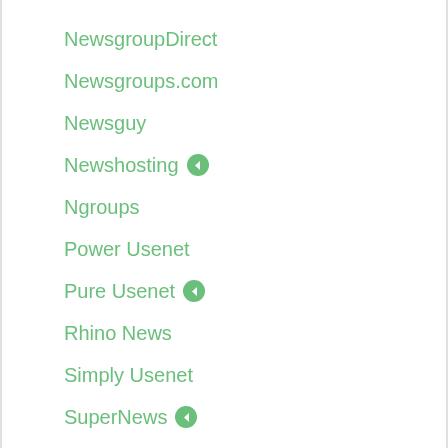NewsgroupDirect
Newsgroups.com
Newsguy
Newshosting ◀
Ngroups
Power Usenet
Pure Usenet ◀
Rhino News
Simply Usenet
SuperNews ◀
Tera News